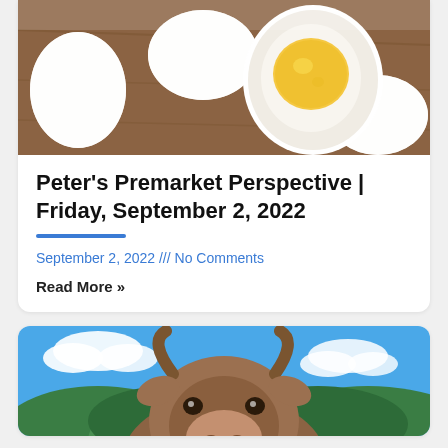[Figure (photo): Boiled eggs - one halved showing yellow yolk, surrounded by whole white eggs on a wooden surface]
Peter's Premarket Perspective | Friday, September 2, 2022
September 2, 2022 /// No Comments
Read More »
[Figure (photo): A brown cow with large horns facing the camera, set against a blue sky with clouds and green mountain hills in the background]